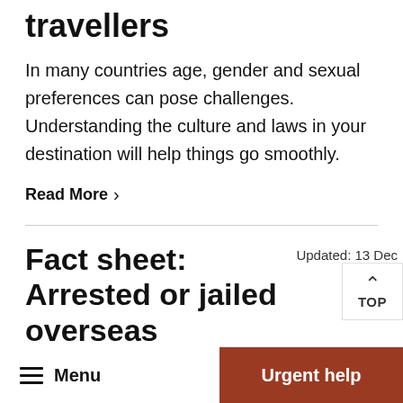travellers
In many countries age, gender and sexual preferences can pose challenges. Understanding the culture and laws in your destination will help things go smoothly.
Read More  >
Fact sheet: Arrested or jailed overseas
Updated: 13 Dec
The information will help you understand what consular staff in Australia and overseas can do to
Menu   Urgent help